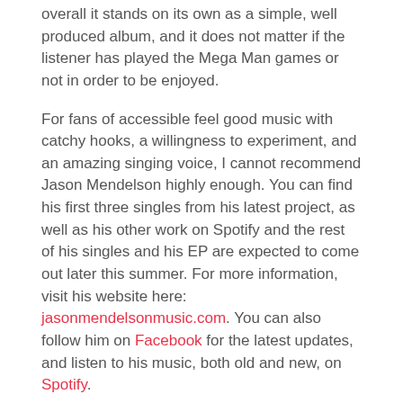overall it stands on its own as a simple, well produced album, and it does not matter if the listener has played the Mega Man games or not in order to be enjoyed.
For fans of accessible feel good music with catchy hooks, a willingness to experiment, and an amazing singing voice, I cannot recommend Jason Mendelson highly enough. You can find his first three singles from his latest project, as well as his other work on Spotify and the rest of his singles and his EP are expected to come out later this summer. For more information, visit his website here: jasonmendelsonmusic.com. You can also follow him on Facebook for the latest updates, and listen to his music, both old and new, on Spotify.
Jason will be performing at The 5×5 on August 23rd at the Villain and Saint in Bethesda. Click here for tickets.
[Figure (other): Social sharing buttons: Facebook (dark blue), Twitter (light blue), Pinterest (red)]